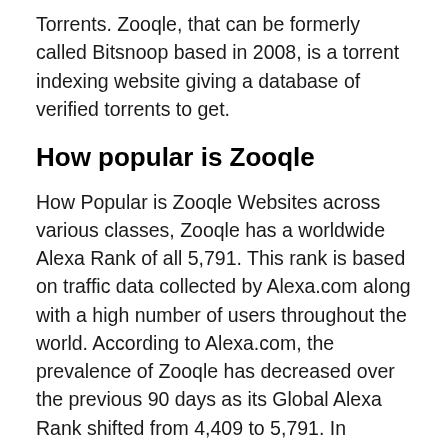Torrents. Zooqle, that can be formerly called Bitsnoop based in 2008, is a torrent indexing website giving a database of verified torrents to get.
How popular is Zooqle
How Popular is Zooqle Websites across various classes, Zooqle has a worldwide Alexa Rank of all 5,791. This rank is based on traffic data collected by Alexa.com along with a high number of users throughout the world. According to Alexa.com, the prevalence of Zooqle has decreased over the previous 90 days as its Global Alexa Rank shifted from 4,409 to 5,791. In addition, Alexa.com indicates that 3.60 pages on this website are declared daily